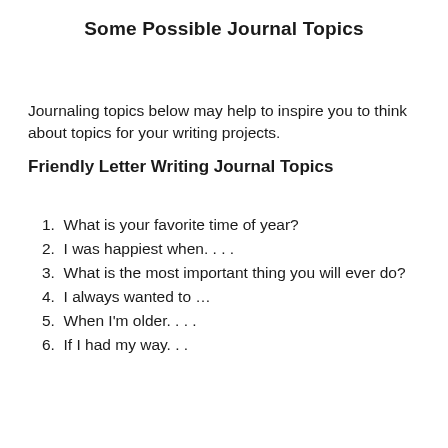Some Possible Journal Topics
Journaling topics below may help to inspire you to think about topics for your writing projects.
Friendly Letter Writing Journal Topics
1. What is your favorite time of year?
2. I was happiest when. . . .
3. What is the most important thing you will ever do?
4. I always wanted to …
5. When I'm older. . . .
6. If I had my way. . .